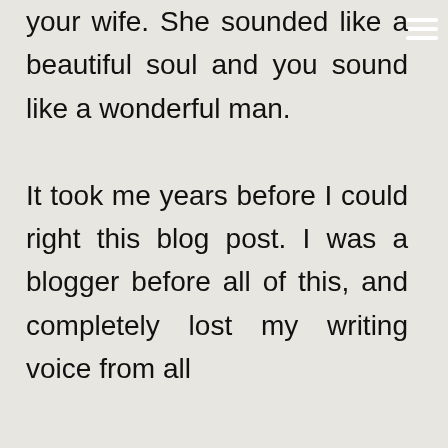your wife. She sounded like a beautiful soul and you sound like a wonderful man.

It took me years before I could right this blog post. I was a blogger before all of this, and completely lost my writing voice from all